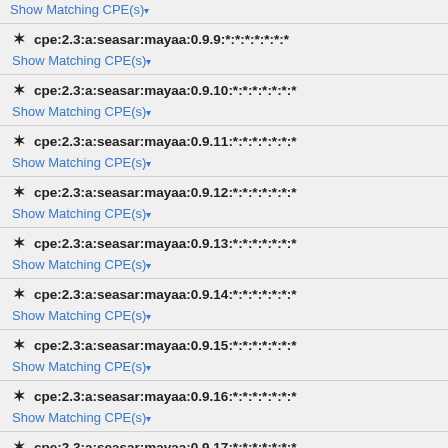Show Matching CPE(s)▾
cpe:2.3:a:seasar:mayaa:0.9.9:*:*:*:*:*:*:*
Show Matching CPE(s)▾
cpe:2.3:a:seasar:mayaa:0.9.10:*:*:*:*:*:*:*
Show Matching CPE(s)▾
cpe:2.3:a:seasar:mayaa:0.9.11:*:*:*:*:*:*:*
Show Matching CPE(s)▾
cpe:2.3:a:seasar:mayaa:0.9.12:*:*:*:*:*:*:*
Show Matching CPE(s)▾
cpe:2.3:a:seasar:mayaa:0.9.13:*:*:*:*:*:*:*
Show Matching CPE(s)▾
cpe:2.3:a:seasar:mayaa:0.9.14:*:*:*:*:*:*:*
Show Matching CPE(s)▾
cpe:2.3:a:seasar:mayaa:0.9.15:*:*:*:*:*:*:*
Show Matching CPE(s)▾
cpe:2.3:a:seasar:mayaa:0.9.16:*:*:*:*:*:*:*
Show Matching CPE(s)▾
cpe:2.3:a:seasar:mayaa:0.9.17:*:*:*:*:*:*:*